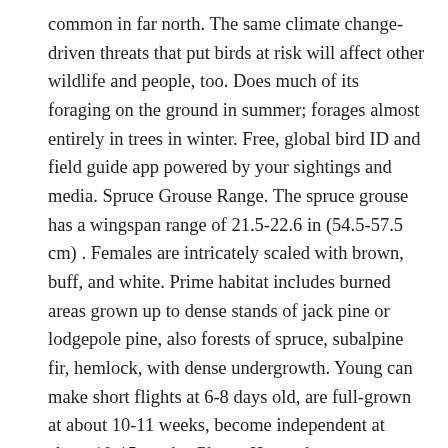common in far north. The same climate change-driven threats that put birds at risk will affect other wildlife and people, too. Does much of its foraging on the ground in summer; forages almost entirely in trees in winter. Free, global bird ID and field guide app powered by your sightings and media. Spruce Grouse Range. The spruce grouse has a wingspan range of 21.5-22.6 in (54.5-57.5 cm) . Females are intricately scaled with brown, buff, and white. Prime habitat includes burned areas grown up to dense stands of jack pine or lodgepole pine, also forests of spruce, subalpine fir, hemlock, with dense undergrowth. Young can make short flights at 6-8 days old, are full-grown at about 10-11 weeks, become independent at about 10-15 weeks. Photo: Howard Arndt/Audubon Photography Awards, Great Egret. Both females and males defend individual territories in breeding season. Audubon’s scientists have used 140 million bird observations and sophisticated climate models to project